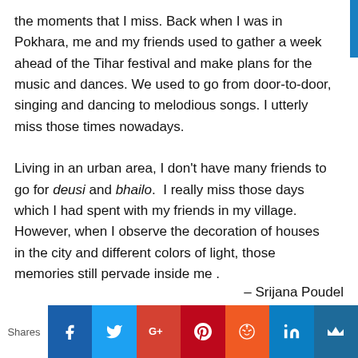the moments that I miss. Back when I was in Pokhara, me and my friends used to gather a week ahead of the Tihar festival and make plans for the music and dances. We used to go from door-to-door, singing and dancing to melodious songs. I utterly miss those times nowadays.

Living in an urban area, I don't have many friends to go for deusi and bhailo. I really miss those days which I had spent with my friends in my village. However, when I observe the decoration of houses in the city and different colors of light, those memories still pervade inside me .
– Srijana Poudel
Shares [Facebook] [Twitter] [Google+] [Pinterest] [Reddit] [LinkedIn] [Bloglovin]